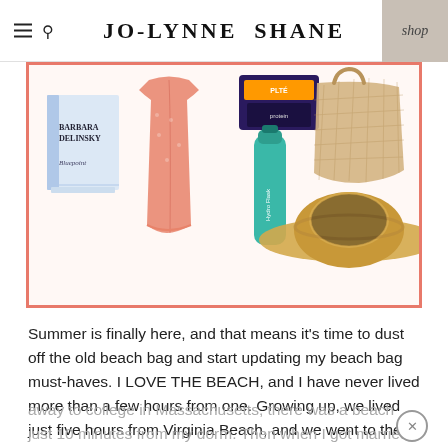JO-LYNNE SHANE | shop
[Figure (photo): A collage of beach bag must-haves including a book by Barbara Delinsky, a coral/peach beach cover-up dress, a teal Hydro Flask water bottle, a natural straw wide-brim hat, snack packaging, and a woven straw tote bag, all arranged on a white background with a coral border.]
Summer is finally here, and that means it’s time to dust off the old beach bag and start updating my beach bag must-haves. I LOVE THE BEACH, and I have never lived more than a few hours from one. Growing up, we lived just five hours from Virginia Beach, and we went to the beach every summer of my childhood. When I went away to college in Massachusetts, there was a beach just 10 minutes from my dorm. Then when I got married